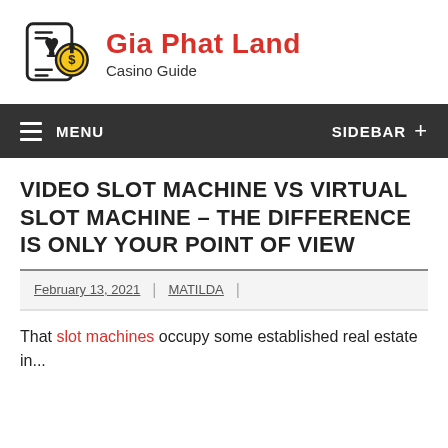[Figure (logo): Gia Phat Land Casino Guide logo with playing card and coin icon]
MENU | SIDEBAR +
VIDEO SLOT MACHINE VS VIRTUAL SLOT MACHINE - THE DIFFERENCE IS ONLY YOUR POINT OF VIEW
February 13, 2021 | MATILDA |
That slot machines occupy some established real estate in...